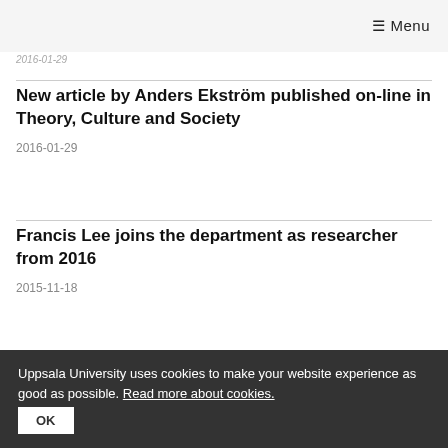≡ Menu
2016-01-29
New article by Anders Ekström published on-line in Theory, Culture and Society
2016-01-29
Francis Lee joins the department as researcher from 2016
2015-11-18
Tony Gustafsson granted project funding by the
Uppsala University uses cookies to make your website experience as good as possible. Read more about cookies.